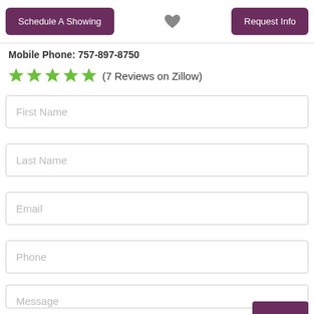Schedule A Showing
[Figure (illustration): Heart/favorite icon in gray]
Request Info
Mobile Phone: 757-897-8750
★★★★★ (7 Reviews on Zillow)
First Name
Last Name
Email
Phone
Message